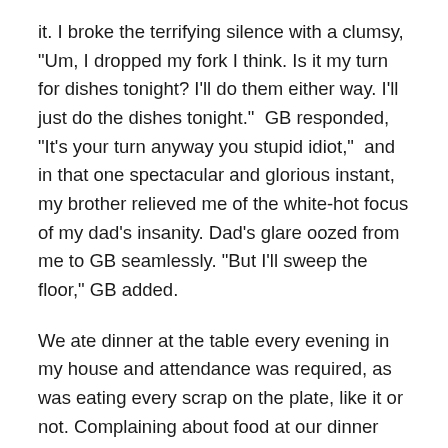it. I broke the terrifying silence with a clumsy, "Um, I dropped my fork I think. Is it my turn for dishes tonight? I'll do them either way. I'll just do the dishes tonight."  GB responded, "It's your turn anyway you stupid idiot,"  and in that one spectacular and glorious instant, my brother relieved me of the white-hot focus of my dad's insanity. Dad's glare oozed from me to GB seamlessly. "But I'll sweep the floor," GB added.
We ate dinner at the table every evening in my house and attendance was required, as was eating every scrap on the plate, like it or not. Complaining about food at our dinner table was an invitation to a twenty-minute lecture on gratitude and respect, neither of which I had even a smidgen. I didn't fully comprehend the concept of thankful and doubt I would have felt any gratitude for my life as compared to say, a starving child in Africa, had I even